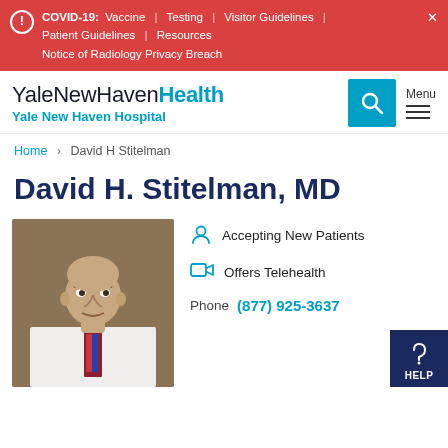COVID-19: Vaccine | Testing | Visitor Guidelines | Patient Guidelines | Resources
Notice of Radiology Privacy Breach
[Figure (logo): YaleNewHavenHealth logo with Yale New Haven Hospital subtitle]
Home > David H Stitelman
David H. Stitelman, MD
[Figure (photo): Professional headshot of Dr. David H. Stitelman in white coat with tie]
Accepting New Patients
Offers Telehealth
Phone (877) 925-3637